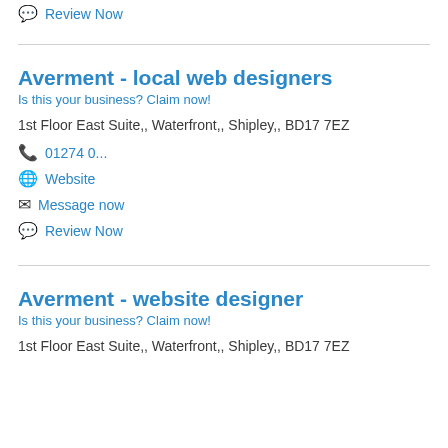Review Now
Averment - local web designers
Is this your business? Claim now!
1st Floor East Suite,, Waterfront,, Shipley,, BD17 7EZ
01274 0...
Website
Message now
Review Now
Averment - website designer
Is this your business? Claim now!
1st Floor East Suite,, Waterfront,, Shipley,, BD17 7EZ